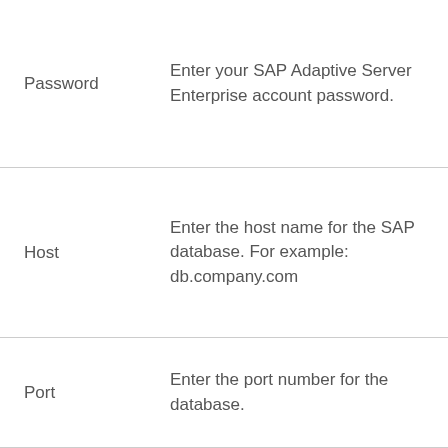| Field | Description |
| --- | --- |
| Password | Enter your SAP Adaptive Server Enterprise account password. |
| Host | Enter the host name for the SAP database. For example: db.company.com |
| Port | Enter the port number for the database. |